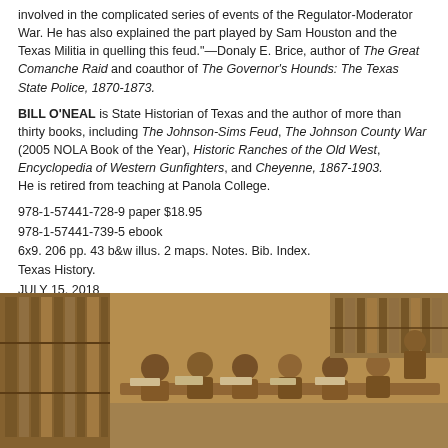involved in the complicated series of events of the Regulator-Moderator War. He has also explained the part played by Sam Houston and the Texas Militia in quelling this feud."—Donaly E. Brice, author of The Great Comanche Raid and coauthor of The Governor's Hounds: The Texas State Police, 1870-1873.
BILL O'NEAL is State Historian of Texas and the author of more than thirty books, including The Johnson-Sims Feud, The Johnson County War (2005 NOLA Book of the Year), Historic Ranches of the Old West, Encyclopedia of Western Gunfighters, and Cheyenne, 1867-1903.
He is retired from teaching at Panola College.
978-1-57441-728-9 paper $18.95
978-1-57441-739-5 ebook
6x9. 206 pp. 43 b&w illus. 2 maps. Notes. Bib. Index.
Texas History.
JULY 15, 2018
Intended audience: adult readers, Texas history scholars,
Texas history enthusiasts
[ view entry ] ( 2915 views )   |   permalink   |  ●●●○○ ( 3 / 313501 )
HIGHER EDUCATION IN TEXAS: ITS BEGINNINGS TO 1970
Friday, September 28, 2018, 12:37 PM
Posted by Administrator
[Figure (photo): Sepia-toned photograph of a library or classroom scene with women studying or working at tables, bookshelves visible in background]